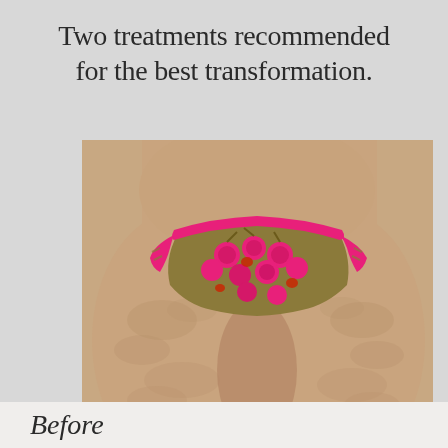Two treatments recommended for the best transformation.
[Figure (photo): Before photo showing lower torso and thighs of a person wearing a patterned pink and olive green bikini bottom with cherry print, frontal view showing cellulite on thighs.]
Before